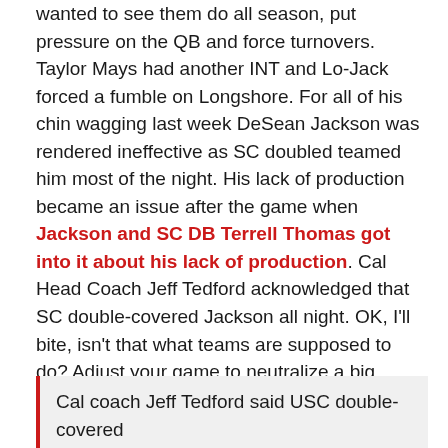wanted to see them do all season, put pressure on the QB and force turnovers. Taylor Mays had another INT and Lo-Jack forced a fumble on Longshore. For all of his chin wagging last week DeSean Jackson was rendered ineffective as SC doubled teamed him most of the night. His lack of production became an issue after the game when Jackson and SC DB Terrell Thomas got into it about his lack of production. Cal Head Coach Jeff Tedford acknowledged that SC double-covered Jackson all night. OK, I'll bite, isn't that what teams are supposed to do? Adjust your game to neutralize a big threat? Jack son was also ineffective in the kicking game. The SC special teams were all over him giving up very little yardage.
Cal coach Jeff Tedford said USC double-covered